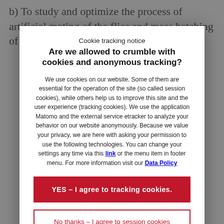b) To study and optimize the process of artificial mating of the flies and mass hatching of eggs.
Cookie tracking notice
Are we allowed to crumble with cookies and anonymous tracking?
We use cookies on our website. Some of them are essential for the operation of the site (so called session cookies), while others help us to improve this site and the user experience (tracking cookies). We use the application Matomo and the external service etracker to analyze your behavior on our website anonymously. Because we value your privacy, we are here with asking your permission to use the following technologies. You can change your settings any time via this link or the menu item in footer menu. For more information visit our Data Policy
YES – I agree to tracking cookies.
No thanks – I agree to session cookies